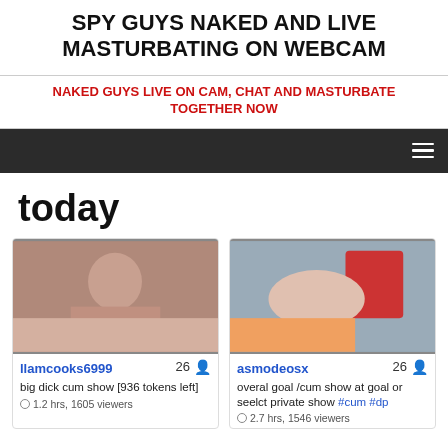SPY GUYS NAKED AND LIVE MASTURBATING ON WEBCAM
NAKED GUYS LIVE ON CAM, CHAT AND MASTURBATE TOGETHER NOW
today
[Figure (photo): Thumbnail of user llamcooks6999, age 26]
llamcooks6999 26 big dick cum show [936 tokens left] 1.2 hrs, 1605 viewers
[Figure (photo): Thumbnail of user asmodeosx, age 26]
asmodeosx 26 overal goal /cum show at goal or seelct private show #cum #dp 2.7 hrs, 1546 viewers